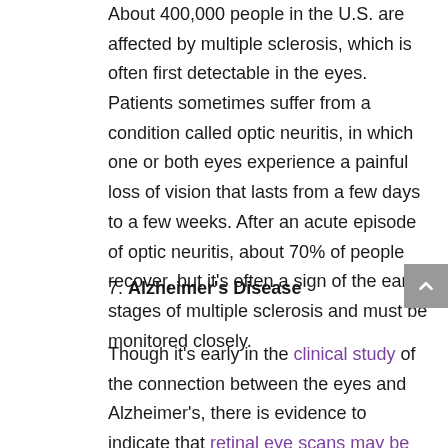About 400,000 people in the U.S. are affected by multiple sclerosis, which is often first detectable in the eyes. Patients sometimes suffer from a condition called optic neuritis, in which one or both eyes experience a painful loss of vision that lasts from a few days to a few weeks. After an acute episode of optic neuritis, about 70% of people recover, but it's often a sign of the early stages of multiple sclerosis and must be monitored closely.
7. Alzheimer's Disease
Though it's early in the clinical study of the connection between the eyes and Alzheimer's, there is evidence to indicate that retinal eye scans may be able to detect specific changes in